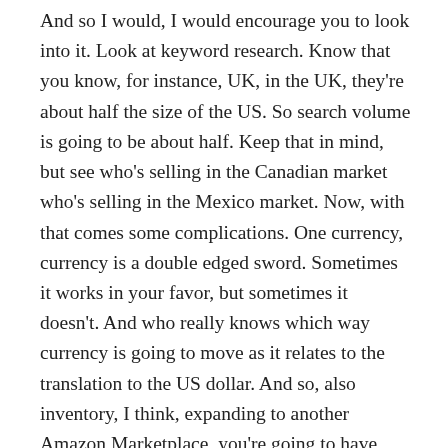And so I would, I would encourage you to look into it. Look at keyword research. Know that you know, for instance, UK, in the UK, they're about half the size of the US. So search volume is going to be about half. Keep that in mind, but see who's selling in the Canadian market who's selling in the Mexico market. Now, with that comes some complications. One currency, currency is a double edged sword. Sometimes it works in your favor, but sometimes it doesn't. And who really knows which way currency is going to move as it relates to the translation to the US dollar. And so, also inventory, I think, expanding to another Amazon Marketplace, you're going to have more capital investment in your Amazon inventory. Not necessarily a bad thing. But I think, look into this. This should be, you know, when we're talking about expansion, what incremental step is going to give you the most incremental benefit. And, and I would say in some instances, expanding to the UK Maybe a better move than expanding to eBay or expanding to Walmart. And